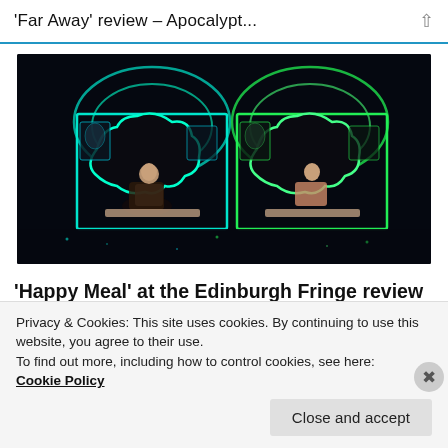'Far Away' review – Apocalypt... ↑
[Figure (photo): Theatre stage photo showing two performers sitting in glowing neon-outlined box structures shaped like speech bubbles against a dark background. Green and cyan neon lighting outlines the set pieces.]
'Happy Meal' at the Edinburgh Fringe review – Tabby Lamb's digital drama radiates trans joy
Privacy & Cookies: This site uses cookies. By continuing to use this website, you agree to their use.
To find out more, including how to control cookies, see here:
Cookie Policy
Close and accept